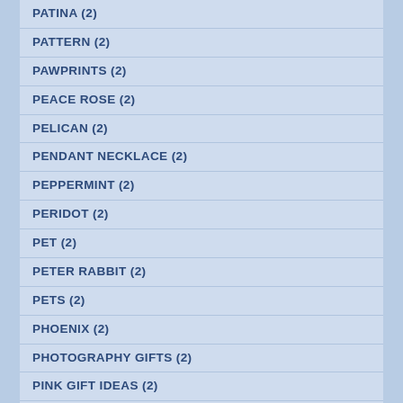PATINA (2)
PATTERN (2)
PAWPRINTS (2)
PEACE ROSE (2)
PELICAN (2)
PENDANT NECKLACE (2)
PEPPERMINT (2)
PERIDOT (2)
PET (2)
PETER RABBIT (2)
PETS (2)
PHOENIX (2)
PHOTOGRAPHY GIFTS (2)
PINK GIFT IDEAS (2)
PINK GIFTS (2)
PINTEREST (2)
PIPESTONE (2)